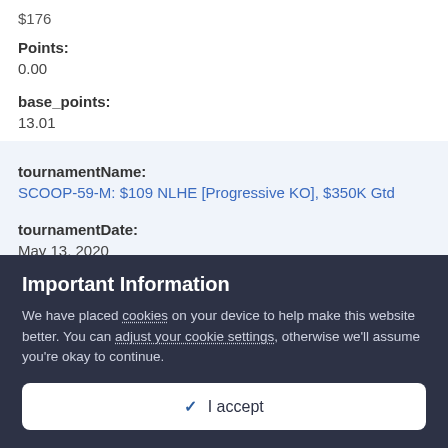$176
Points:
0.00
base_points:
13.01
tournamentName:
SCOOP-59-M: $109 NLHE [Progressive KO], $350K Gtd
tournamentDate:
May 13, 2020
prizepool:
Important Information
We have placed cookies on your device to help make this website better. You can adjust your cookie settings, otherwise we'll assume you're okay to continue.
✓ I accept